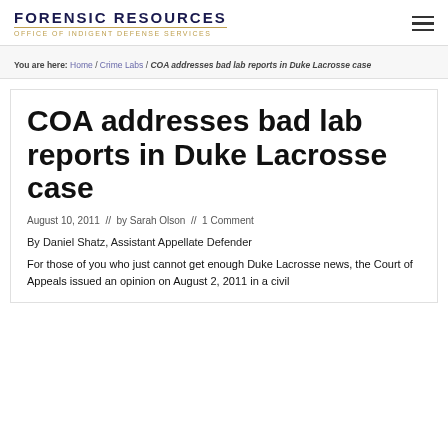FORENSIC RESOURCES OFFICE OF INDIGENT DEFENSE SERVICES
You are here: Home / Crime Labs / COA addresses bad lab reports in Duke Lacrosse case
COA addresses bad lab reports in Duke Lacrosse case
August 10, 2011  //  by Sarah Olson  //  1 Comment
By Daniel Shatz, Assistant Appellate Defender
For those of you who just cannot get enough Duke Lacrosse news, the Court of Appeals issued an opinion on August 2, 2011 in a civil